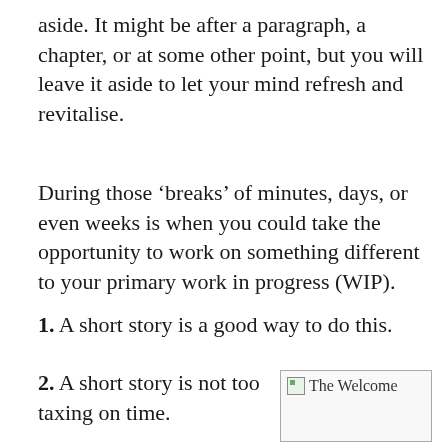aside. It might be after a paragraph, a chapter, or at some other point, but you will leave it aside to let your mind refresh and revitalise.
During those ‘breaks’ of minutes, days, or even weeks is when you could take the opportunity to work on something different to your primary work in progress (WIP).
1. A short story is a good way to do this.
2. A short story is not too taxing on time.
[Figure (other): Broken image placeholder with text 'The Welcome']